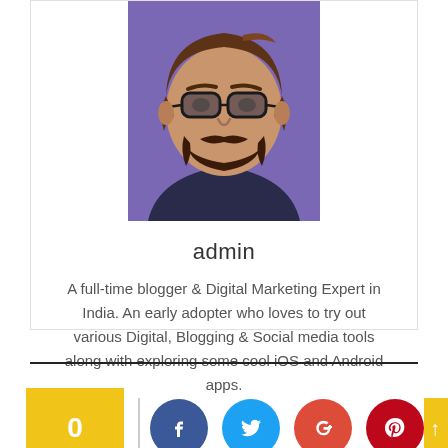[Figure (illustration): Cartoon/illustrated portrait of a man with glasses and beard on a purple background]
admin
A full-time blogger & Digital Marketing Expert in India. An early adopter who loves to try out various Digital, Blogging & Social media tools along with exploring some cool iOS and Android apps.
[Figure (infographic): Social sharing bar with a yellow share count box showing 0, a vertical separator, and circular social media buttons for Facebook, Twitter, Google+, and Pinterest, plus a partial yellow element on the right]